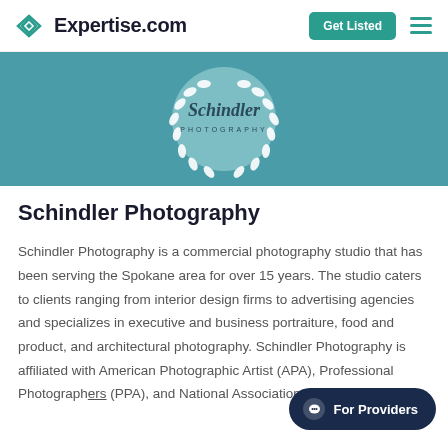Expertise.com — Get Listed
[Figure (logo): Schindler Photography circular badge logo on teal background with laurel wreath]
Schindler Photography
Schindler Photography is a commercial photography studio that has been serving the Spokane area for over 15 years. The studio caters to clients ranging from interior design firms to advertising agencies and specializes in executive and business portraiture, food and product, and architectural photography. Schindler Photography is affiliated with American Photographic Artist (APA), Professional Photographers (PPA), and National Association of Photoshop.